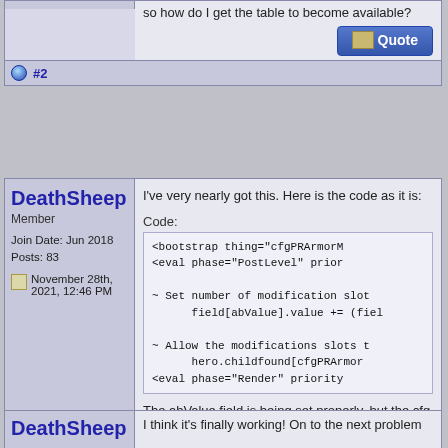so how do I get the table to become available?
#2
DeathSheep
Member
Join Date: Jun 2018
Posts: 83
November 28th, 2021, 12:46 PM
I've very nearly got this. Here is the code as it is:
Code:
<bootstrap thing="cfgPRArmorM
<eval phase="PostLevel" prior
~ Set number of modification slot
      field[abValue].value += (fiel
~ Allow the modifications slots t
      hero.childfound[cfgPRArmor
<eval phase="Render" priority
The abValue field is being set properly, but the cfg picking up the changed abValue field when further the number of choices increase?
#3
DeathSheep
I think it's finally working! On to the next problem